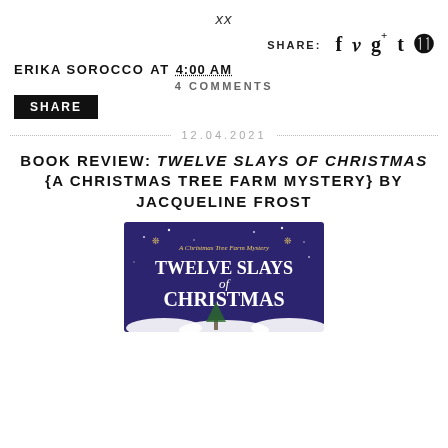xx
SHARE: f y g+ t p
ERIKA SOROCCO AT 4:00 AM
4 COMMENTS
SHARE
12.04.2021
BOOK REVIEW: TWELVE SLAYS OF CHRISTMAS {A CHRISTMAS TREE FARM MYSTERY} BY JACQUELINE FROST
[Figure (illustration): Book cover for Twelve Slays of Christmas - A Christmas Tree Farm Mystery by Jacqueline Frost. Dark purple/blue background with snow scene, showing the title in large white and gold text.]